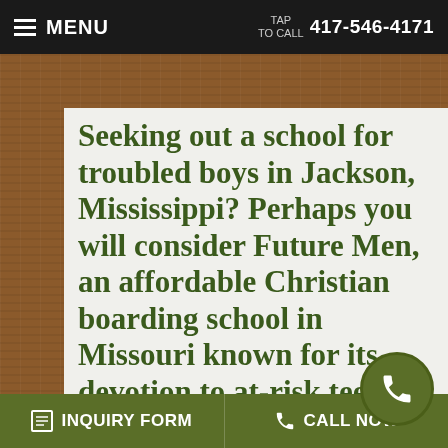MENU | TAP TO CALL 417-546-4171
Seeking out a school for troubled boys in Jackson, Mississippi? Perhaps you will consider Future Men, an affordable Christian boarding school in Missouri known for its devotion to at-risk teenage boys who have gotten off track academically, emotionally, legally or
INQUIRY FORM | CALL NOW